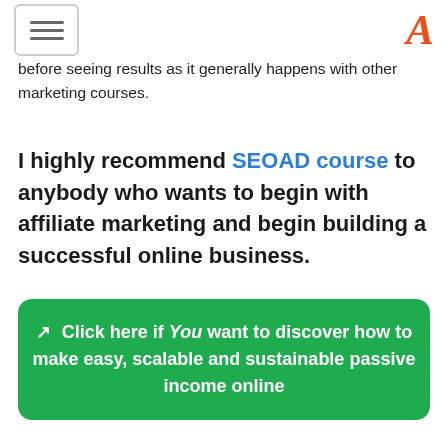[hamburger menu] [A logo]
before seeing results as it generally happens with other marketing courses.
I highly recommend SEOAD course to anybody who wants to begin with affiliate marketing and begin building a successful online business.
[Figure (other): Green CTA button with external link icon: 'Click here if You want to discover how to make easy, scalable and sustainable passive income online']